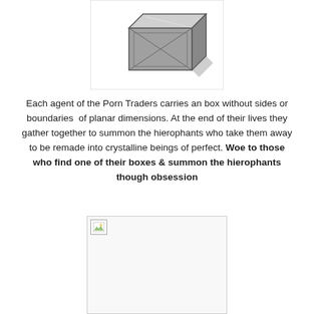[Figure (illustration): A 3D rendered box or frame object with metallic grey tones shown partially cropped at the top of the page]
Each agent of the Porn Traders carries an box without sides or boundaries  of planar dimensions. At the end of their lives they gather together to summon the hierophants who take them away to be remade into crystalline beings of perfect. Woe to those who find one of their boxes & summon the hierophants though obsession
[Figure (photo): A broken/missing image placeholder shown as a white rectangle with a small broken image icon in the top-left corner, surrounded by a light grey border]